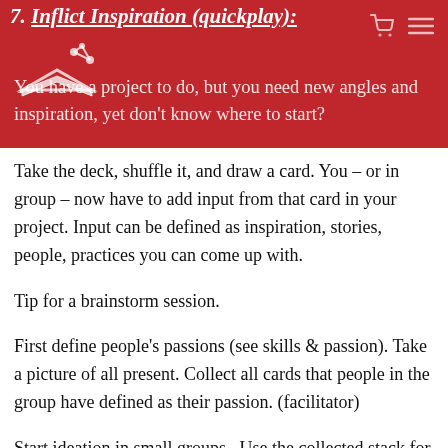7. Inflict Inspiration (quickplay):
[Figure (logo): Network/graph logo icon with circles and lines representing a learning network]
You have a project to do, but you need new angles and inspiration, yet don't know where to start? Take the deck, shuffle it, and draw a card. You – or in group – now have to add input from that card in your project. Input can be defined as inspiration, stories, people, practices you can come up with.
Tip for a brainstorm session.
First define people's passions (see skills & passion). Take a picture of all present. Collect all cards that people in the group have defined as their passion. (facilitator)
Start ideation in small groups.  Use the collected stack for this exercise: add one of the cards to inflict